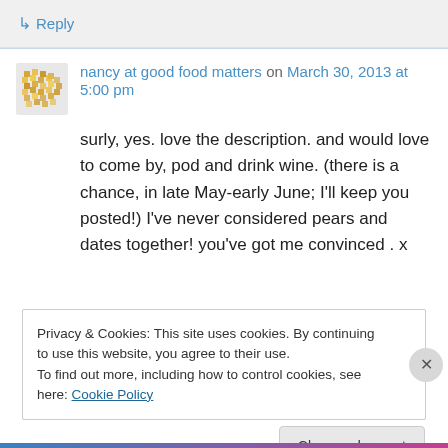↳ Reply
nancy at good food matters on March 30, 2013 at 5:00 pm
surly, yes. love the description. and would love to come by, pod and drink wine. (there is a chance, in late May-early June; I'll keep you posted!) I've never considered pears and dates together! you've got me convinced . x
Privacy & Cookies: This site uses cookies. By continuing to use this website, you agree to their use. To find out more, including how to control cookies, see here: Cookie Policy
Close and accept